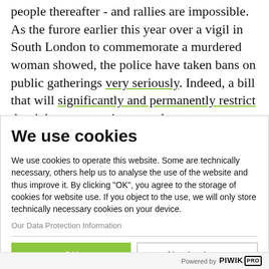people thereafter - and rallies are impossible. As the furore earlier this year over a vigil in South London to commemorate a murdered woman showed, the police have taken bans on public gatherings very seriously. Indeed, a bill that will significantly and permanently restrict the right to protest is currently
We use cookies
We use cookies to operate this website. Some are technically necessary, others help us to analyse the use of the website and thus improve it. By clicking "OK", you agree to the storage of cookies for website use. If you object to the use, we will only store technically necessary cookies on your device.
Our Data Protection Information
OK
No, thank you
Powered by PIWIK PRO